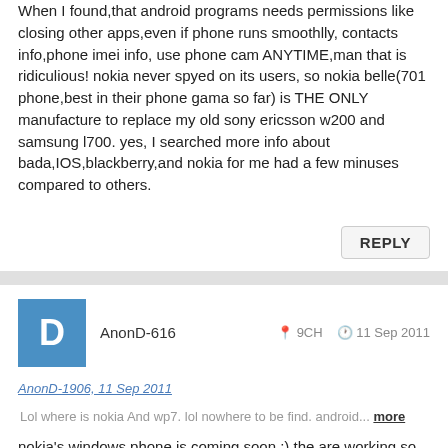When I found,that android programs needs permissions like closing other apps,even if phone runs smoothlly, contacts info,phone imei info, use phone cam ANYTIME,man that is ridiculious! nokia never spyed on its users, so nokia belle(701 phone,best in their phone gama so far) is THE ONLY manufacture to replace my old sony ericsson w200 and samsung l700. yes, I searched more info about bada,IOS,blackberry,and nokia for me had a few minuses compared to others.
REPLY
AnonD-616  9CH  11 Sep 2011
AnonD-1906, 11 Sep 2011
Lol where is nokia And wp7. lol nowhere to be find. android... more
nokia's windows phone is coming soon :) the are working so hard to bring something new . not like samsung htc :( everyday new devices